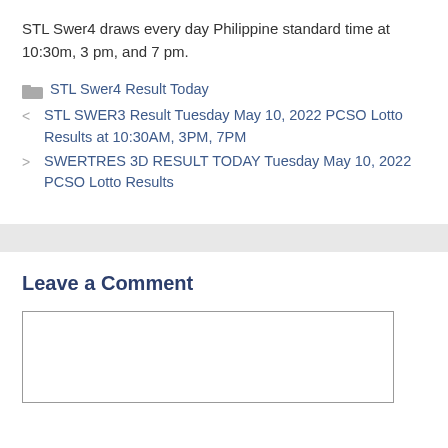STL Swer4 draws every day Philippine standard time at 10:30m, 3 pm, and 7 pm.
STL Swer4 Result Today
STL SWER3 Result Tuesday May 10, 2022 PCSO Lotto Results at 10:30AM, 3PM, 7PM
SWERTRES 3D RESULT TODAY Tuesday May 10, 2022 PCSO Lotto Results
Leave a Comment